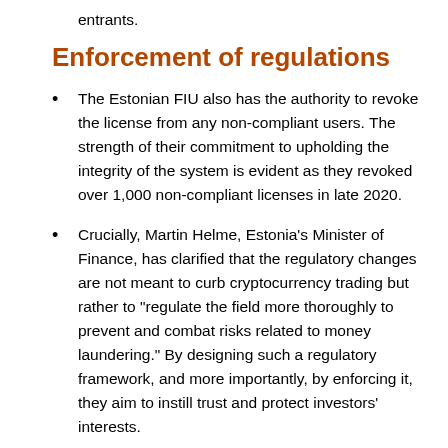entrants.
Enforcement of regulations
The Estonian FIU also has the authority to revoke the license from any non-compliant users. The strength of their commitment to upholding the integrity of the system is evident as they revoked over 1,000 non-compliant licenses in late 2020.
Crucially, Martin Helme, Estonia’s Minister of Finance, has clarified that the regulatory changes are not meant to curb cryptocurrency trading but rather to “regulate the field more thoroughly to prevent and combat risks related to money laundering.” By designing such a regulatory framework, and more importantly, by enforcing it, they aim to instill trust and protect investors’ interests.
This system also helps to ensure the accountability and